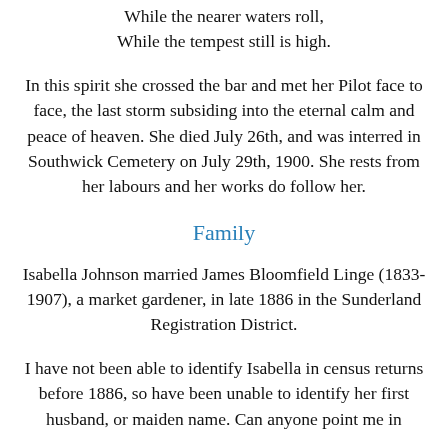While the nearer waters roll,
While the tempest still is high.
In this spirit she crossed the bar and met her Pilot face to face, the last storm subsiding into the eternal calm and peace of heaven. She died July 26th, and was interred in Southwick Cemetery on July 29th, 1900. She rests from her labours and her works do follow her.
Family
Isabella Johnson married James Bloomfield Linge (1833-1907), a market gardener, in late 1886 in the Sunderland Registration District.
I have not been able to identify Isabella in census returns before 1886, so have been unable to identify her first husband, or maiden name. Can anyone point me in